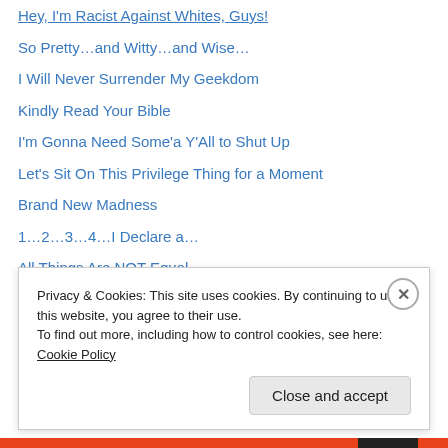Hey, I'm Racist Against Whites, Guys!
So Pretty…and Witty…and Wise…
I Will Never Surrender My Geekdom
Kindly Read Your Bible
I'm Gonna Need Some'a Y'All to Shut Up
Let's Sit On This Privilege Thing for a Moment
Brand New Madness
1…2…3…4…I Declare a…
All Things Are NOT Equal
Yes…Another Blog
Blogroll
Privacy & Cookies: This site uses cookies. By continuing to use this website, you agree to their use.
To find out more, including how to control cookies, see here: Cookie Policy
Close and accept